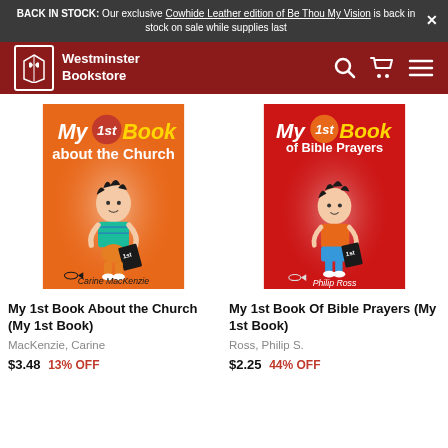BACK IN STOCK: Our exclusive Cowhide Leather edition of Be Thou My Vision is back in stock on sale while supplies last
[Figure (screenshot): Westminster Bookstore navigation bar with logo, search, cart, and menu icons on dark red background]
[Figure (illustration): Book cover: My 1st Book about the Church by Carine MacKenzie, orange background with cartoon boy]
My 1st Book About the Church (My 1st Book)
MacKenzie, Carine
$3.48 13% OFF
[Figure (illustration): Book cover: My 1st Book of Bible Prayers by Philip Ross, red background with cartoon boy]
My 1st Book Of Bible Prayers (My 1st Book)
Ross, Philip S.
$2.25 44% OFF